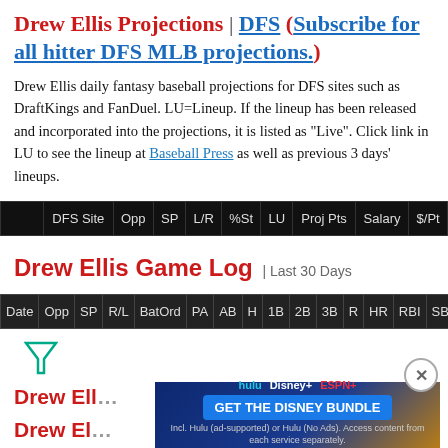Drew Ellis Projections | DFS (Subscribe for all hitter DFS MLB projections.)
Drew Ellis daily fantasy baseball projections for DFS sites such as DraftKings and FanDuel. LU=Lineup. If the lineup has been released and incorporated into the projections, it is listed as "Live". Click link in LU to see the lineup at Baseball Press as well as previous 3 days' lineups.
|  | DFS Site | Opp | SP | L/R | %St | LU | Proj Pts | Salary | $/Pt |
| --- | --- | --- | --- | --- | --- | --- | --- | --- | --- |
Drew Ellis Game Log | Last 30 Days
| Date | Opp | SP | R/L | BatOrd | PA | AB | H | 1B | 2B | 3B | R | HR | RBI | SB | BB | S |
| --- | --- | --- | --- | --- | --- | --- | --- | --- | --- | --- | --- | --- | --- | --- | --- | --- |
Drew Ell... son
[Figure (screenshot): Disney Bundle advertisement banner with Hulu, Disney+, ESPN+ logos and GET THE DISNEY BUNDLE button]